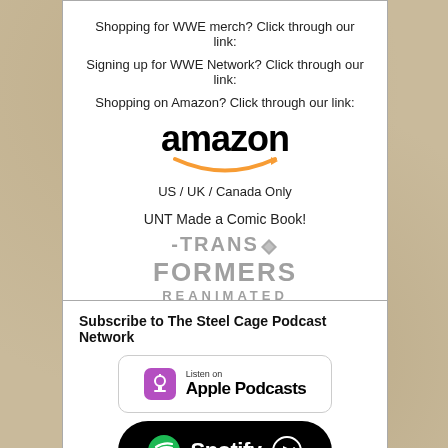Shopping for WWE merch? Click through our link:
Signing up for WWE Network? Click through our link:
Shopping on Amazon? Click through our link:
[Figure (logo): Amazon logo with orange smile/arrow underneath]
US / UK / Canada Only
UNT Made a Comic Book!
[Figure (logo): Transformers Reanimated logo in grey metallic style text]
Subscribe to The Steel Cage Podcast Network
[Figure (logo): Listen on Apple Podcasts badge]
[Figure (logo): Spotify badge with green logo and speaker icon]